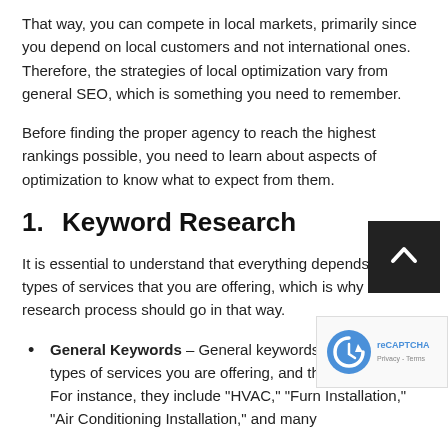That way, you can compete in local markets, primarily since you depend on local customers and not international ones. Therefore, the strategies of local optimization vary from general SEO, which is something you need to remember.
Before finding the proper agency to reach the highest rankings possible, you need to learn about aspects of optimization to know what to expect from them.
1.   Keyword Research
It is essential to understand that everything depends on the types of services that you are offering, which is why the research process should go in that way.
General Keywords – General keywords target the types of services you are offering, and they are ones. For instance, they include "HVAC," "Furn Installation," "Air Conditioning Installation," and many